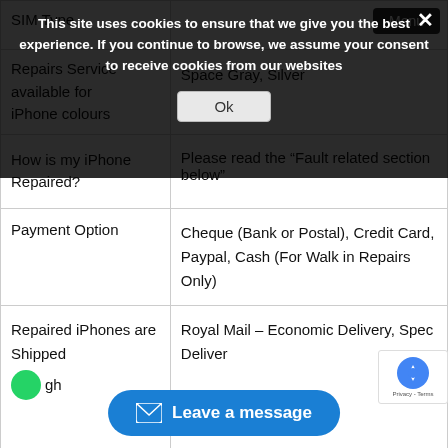|  |  |
| --- | --- |
| SIM Type |  |
| Repairs Service available for iPhone colours | Space Gray, Silver |
| How is my iPhone Repaired? | Please read the “Fault related section below” |
| Payment Option | Cheque (Bank or Postal), Credit Card, Paypal, Cash (For Walk in Repairs Only) |
| Repaired iPhones are Shipped gh | Royal Mail - Economic Delivery, Spec Delivery |
This site uses cookies to ensure that we give you the best experience. If you continue to browse, we assume your consent to receive cookies from our websites
Ok
Menu
Leave a message